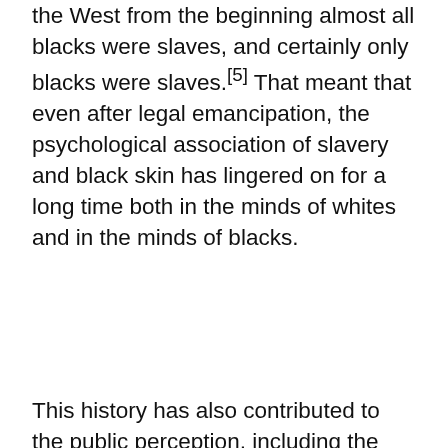the West from the beginning almost all blacks were slaves, and certainly only blacks were slaves.[5] That meant that even after legal emancipation, the psychological association of slavery and black skin has lingered on for a long time both in the minds of whites and in the minds of blacks.
This history has also contributed to the public perception, including the Christian perception, of where the problem lies when it comes to the desirability of integrating Christian churches. For without... of integrating... black/white... are the deepest barriers a... side, the majority side. But the issues are complicated. Without for a moment wanting to pla... the commonness of white prejudice, we must reflect as well on the ma...
Cookies enable you to enjoy features such as social sharing. They also help us analyze general site traffic so we can improve the website for everyone. By continuing to use the 9M website, you consent to the use of cookies. More information is available on our Privacy Policy.